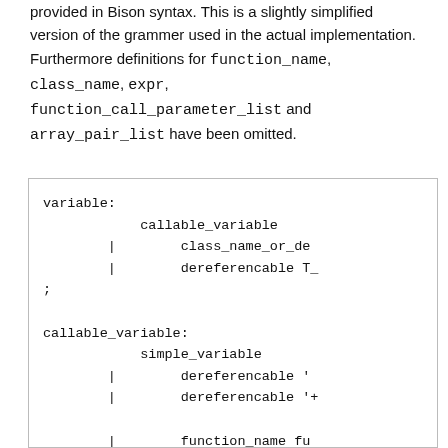provided in Bison syntax. This is a slightly simplified version of the grammer used in the actual implementation. Furthermore definitions for function_name, class_name, expr, function_call_parameter_list and array_pair_list have been omitted.
[Figure (other): Code block showing Bison grammar rules for 'variable' and 'callable_variable' productions, including alternatives with callable_variable, class_name_or_de..., dereferencable T_, simple_variable, dereferencable '..., dereferencable '+, and function_name fu...]